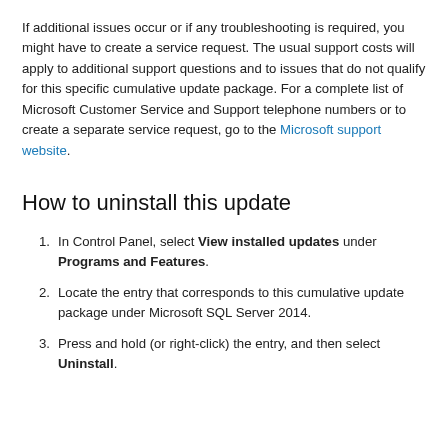If additional issues occur or if any troubleshooting is required, you might have to create a service request. The usual support costs will apply to additional support questions and to issues that do not qualify for this specific cumulative update package. For a complete list of Microsoft Customer Service and Support telephone numbers or to create a separate service request, go to the Microsoft support website.
How to uninstall this update
In Control Panel, select View installed updates under Programs and Features.
Locate the entry that corresponds to this cumulative update package under Microsoft SQL Server 2014.
Press and hold (or right-click) the entry, and then select Uninstall.